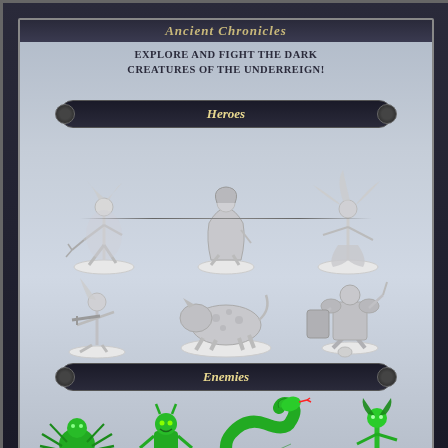Ancient Chronicles
EXPLORE AND FIGHT THE DARK CREATURES OF THE UNDERREIGN!
Heroes
[Figure (photo): Three gray/silver unpainted miniature hero figures on white oval bases: a female figure with claw weapon, a crouching cloaked figure, and a female figure with flowing hair]
[Figure (photo): Three gray/silver unpainted miniature figures in the enemies section top row: a tall female warrior with crossbow, a large beast/panther creature, and an armored undead warrior with sword and shield on skulls]
Enemies
[Figure (photo): Four bright green painted miniature enemy figures: a spider-like creature, a goblin/demon humanoid, a large coiled cobra snake, and a female humanoid figure]